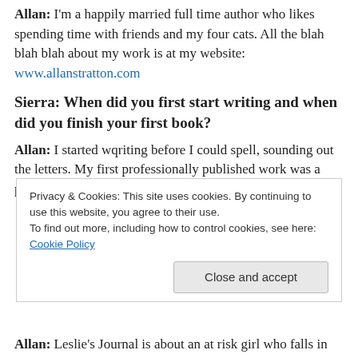Allan: I'm a happily married full time author who likes spending time with friends and my four cats. All the blah blah blah about my work is at my website: www.allanstratton.com
Sierra: When did you first start writing and when did you finish your first book?
Allan: I started wqriting before I could spell, sounding out the letters. My first professionally published work was a play written when I was eighteen and produced on our
Privacy & Cookies: This site uses cookies. By continuing to use this website, you agree to their use. To find out more, including how to control cookies, see here: Cookie Policy
Allan: Leslie's Journal is about an at risk girl who falls in